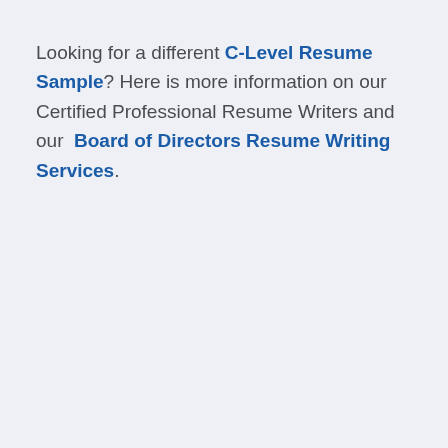Looking for a different C-Level Resume Sample? Here is more information on our Certified Professional Resume Writers and our Board of Directors Resume Writing Services.